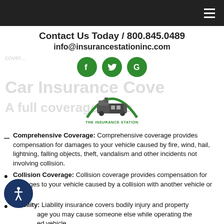Contact Us Today / 800.845.0489
info@insurancestationinc.com
[Figure (logo): Three green circular social media icons (Facebook, Twitter, Google) and The Insurance Station train logo]
Comprehensive Coverage: Comprehensive coverage provides compensation for damages to your vehicle caused by fire, wind, hail, lightning, falling objects, theft, vandalism and other incidents not involving collision.
Collision Coverage: Collision coverage provides compensation for damages to your vehicle caused by a collision with another vehicle or object.
Liability: Liability insurance covers bodily injury and property damage you may cause someone else while operating the insured vehicle.
Medical Payments Coverage: This insurance helps with medical bills you and your passengers may face after an